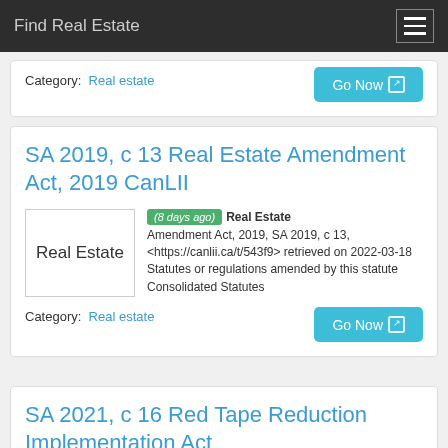Find Real Estate
Category: Real estate
SA 2019, c 13 Real Estate Amendment Act, 2019 CanLII
(8 days ago) Real Estate Amendment Act, 2019, SA 2019, c 13, <https://canlii.ca/t/543f9> retrieved on 2022-03-18 Statutes or regulations amended by this statute Consolidated Statutes
Category: Real estate
SA 2021, c 16 Red Tape Reduction Implementation Act